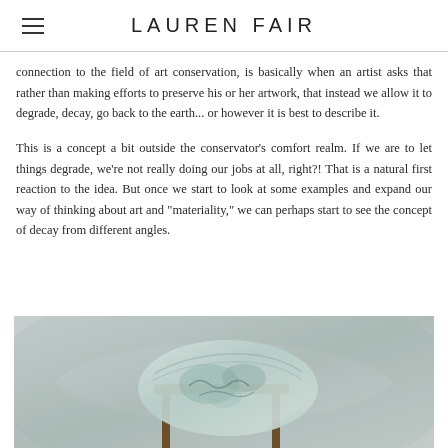LAUREN FAIR
connection to the field of art conservation, is basically when an artist asks that rather than making efforts to preserve his or her artwork, that instead we allow it to degrade, decay, go back to the earth... or however it is best to describe it.
This is a concept a bit outside the conservator's comfort realm. If we are to let things degrade, we're not really doing our jobs at all, right?! That is a natural first reaction to the idea. But once we start to look at some examples and expand our way of thinking about art and "materiality," we can perhaps start to see the concept of decay from different angles.
[Figure (photo): Photograph of an artwork — appears to be a framed piece or sculptural object with pale blue/green weathered textile or paper surface, sitting on a wooden frame/stand, photographed against a light grey gradient background.]